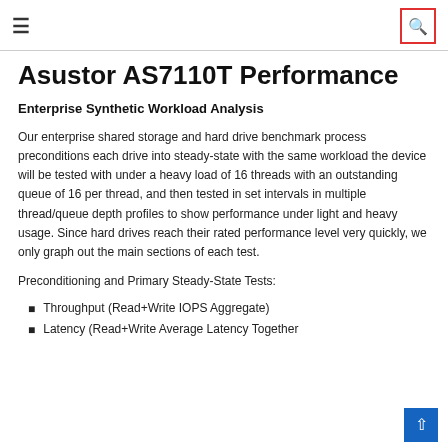≡  [search icon]
Asustor AS7110T Performance
Enterprise Synthetic Workload Analysis
Our enterprise shared storage and hard drive benchmark process preconditions each drive into steady-state with the same workload the device will be tested with under a heavy load of 16 threads with an outstanding queue of 16 per thread, and then tested in set intervals in multiple thread/queue depth profiles to show performance under light and heavy usage. Since hard drives reach their rated performance level very quickly, we only graph out the main sections of each test.
Preconditioning and Primary Steady-State Tests:
Throughput (Read+Write IOPS Aggregate)
Latency (Read+Write Average Latency Together)